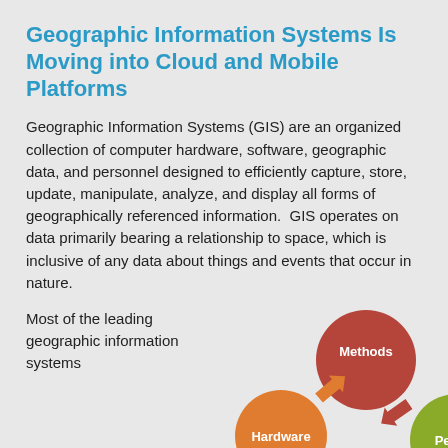Geographic Information Systems Is Moving into Cloud and Mobile Platforms
Geographic Information Systems (GIS) are an organized collection of computer hardware, software, geographic data, and personnel designed to efficiently capture, store, update, manipulate, analyze, and display all forms of geographically referenced information.  GIS operates on data primarily bearing a relationship to space, which is inclusive of any data about things and events that occur in nature.
Most of the leading geographic information systems
[Figure (infographic): Circular diagram showing three overlapping circles labeled Methods (dark red, top center), Hardware (orange, bottom left), and People (green, bottom right), with orange and red arrows between them indicating relationships.]